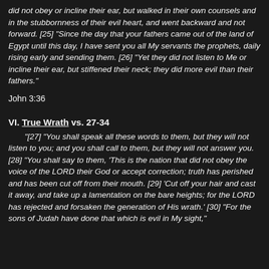did not obey or incline their ear, but walked in their own counsels and in the stubbornness of their evil heart, and went backward and not forward. [25] “Since the day that your fathers came out of the land of Egypt until this day, I have sent you all My servants the prophets, daily rising early and sending them. [26] “Yet they did not listen to Me or incline their ear, but stiffened their neck; they did more evil than their fathers.”
John 3:36
VI. True Wrath vs. 27-34
“[27] “You shall speak all these words to them, but they will not listen to you; and you shall call to them, but they will not answer you. [28] “You shall say to them, ‘This is the nation that did not obey the voice of the LORD their God or accept correction; truth has perished and has been cut off from their mouth. [29] ‘Cut off your hair and cast it away, and take up a lamentation on the bare heights; for the LORD has rejected and forsaken the generation of His wrath.’ [30] “For the sons of Judah have done that which is evil in My sight,”